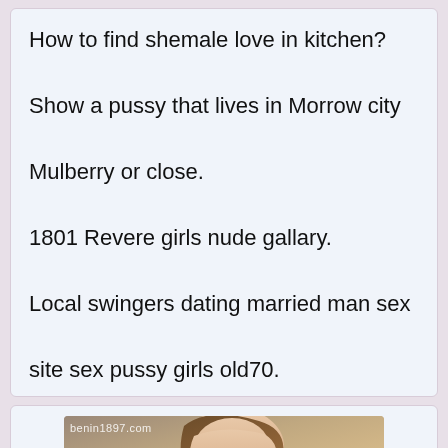How to find shemale love in kitchen?

Show a pussy that lives in Morrow city

Mulberry or close.

1801 Revere girls nude gallary.

Local swingers dating married man sex

site sex pussy girls old70.
[Figure (photo): Partial photo of a person with brown hair, with watermark text 'benin1897.com']